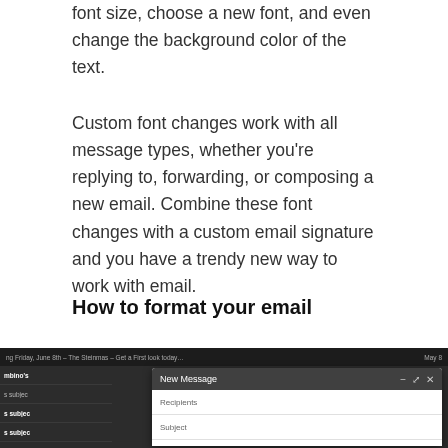font size, choose a new font, and even change the background color of the text.
Custom font changes work with all message types, whether you're replying to, forwarding, or composing a new email. Combine these font changes with a custom email signature and you have a trendy new way to work with email.
How to format your email
[Figure (screenshot): Screenshot of a Gmail-style email client in dark mode showing a New Message compose window with Recipients and Subject fields.]